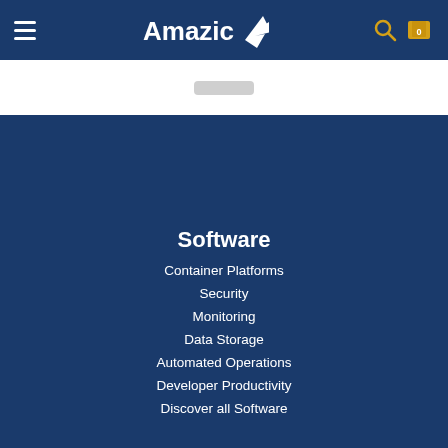Amazic — navigation header with hamburger menu, logo, search and cart icons
Software
Container Platforms
Security
Monitoring
Data Storage
Automated Operations
Developer Productivity
Discover all Software